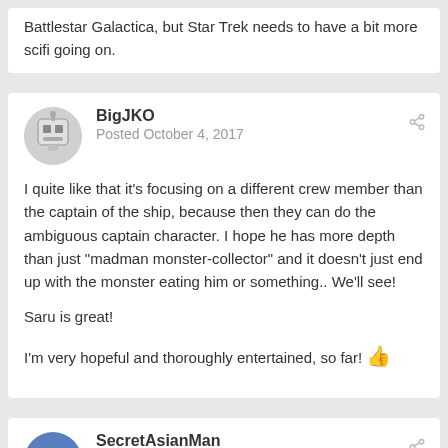Battlestar Galactica, but Star Trek needs to have a bit more scifi going on.
BigJKO
Posted October 4, 2017
I quite like that it's focusing on a different crew member than the captain of the ship, because then they can do the ambiguous captain character. I hope he has more depth than just “madman monster-collector” and it doesn’t just end up with the monster eating him or something.. We’ll see!

Saru is great!

I’m very hopeful and thoroughly entertained, so far! 👍
SecretAsianMan
Posted October 4, 2017